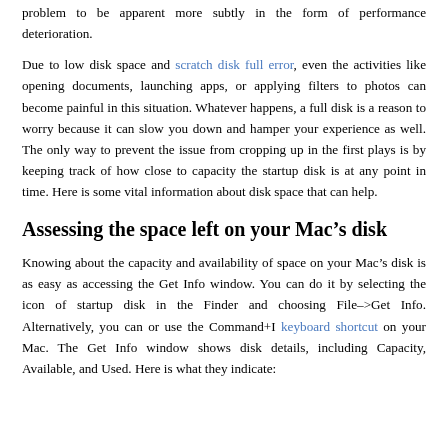problem to be apparent more subtly in the form of performance deterioration.
Due to low disk space and scratch disk full error, even the activities like opening documents, launching apps, or applying filters to photos can become painful in this situation. Whatever happens, a full disk is a reason to worry because it can slow you down and hamper your experience as well. The only way to prevent the issue from cropping up in the first plays is by keeping track of how close to capacity the startup disk is at any point in time. Here is some vital information about disk space that can help.
Assessing the space left on your Mac’s disk
Knowing about the capacity and availability of space on your Mac’s disk is as easy as accessing the Get Info window. You can do it by selecting the icon of startup disk in the Finder and choosing File–>Get Info. Alternatively, you can or use the Command+I keyboard shortcut on your Mac. The Get Info window shows disk details, including Capacity, Available, and Used. Here is what they indicate: